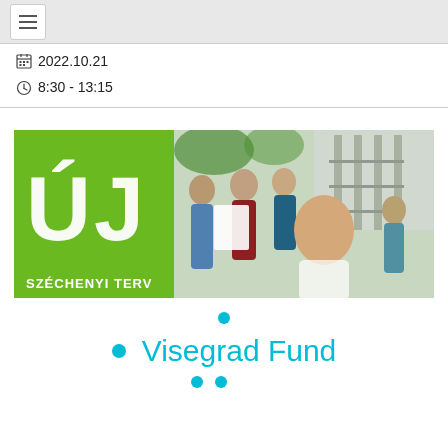≡ (hamburger menu)
📅 2022.10.21
🕐 8:30 - 13:15
[Figure (photo): Új Széchenyi Terv banner image showing a family (two adults, two teenagers, a young girl in foreground) standing outdoors near a building under construction. Green panel on the left with 'ÚJ' in white and 'SZÉCHENYI TERV' text below.]
Visegrad Fund